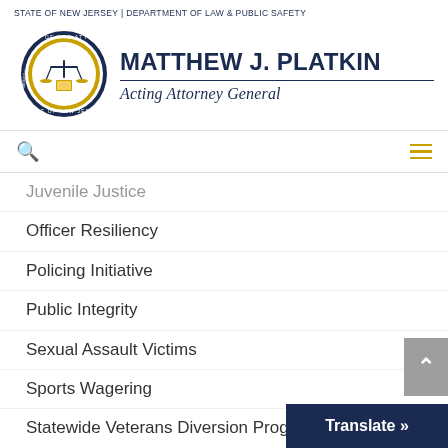STATE OF NEW JERSEY | DEPARTMENT OF LAW & PUBLIC SAFETY
[Figure (logo): New Jersey Office of the Attorney General circular seal with scales of justice]
MATTHEW J. PLATKIN
Acting Attorney General
Juvenile Justice
Officer Resiliency
Policing Initiative
Public Integrity
Sexual Assault Victims
Sports Wagering
Statewide Veterans Diversion Program
Strengthening Community Trust
Translate »